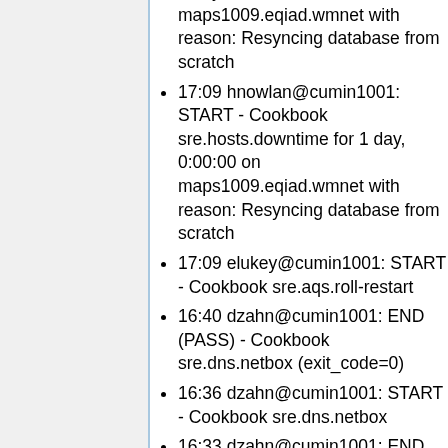1 day, 0:00:00 on maps1009.eqiad.wmnet with reason: Resyncing database from scratch
17:09 hnowlan@cumin1001: START - Cookbook sre.hosts.downtime for 1 day, 0:00:00 on maps1009.eqiad.wmnet with reason: Resyncing database from scratch
17:09 elukey@cumin1001: START - Cookbook sre.aqs.roll-restart
16:40 dzahn@cumin1001: END (PASS) - Cookbook sre.dns.netbox (exit_code=0)
16:36 dzahn@cumin1001: START - Cookbook sre.dns.netbox
16:33 dzahn@cumin1001: END (FAIL) - Cookbook sre.hosts.decommission (exit_code=1) for hosts gitlab1001.eqiad.wmnet